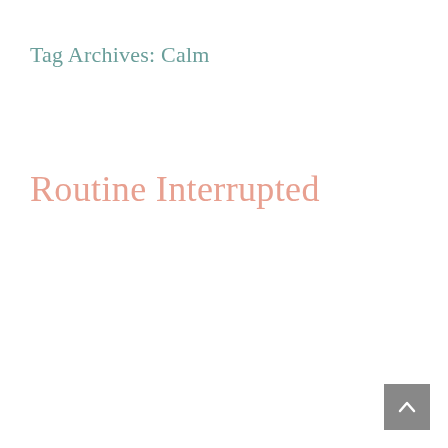Tag Archives: Calm
Routine Interrupted